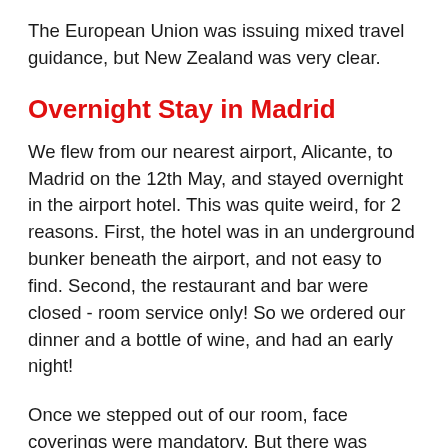The European Union was issuing mixed travel guidance, but New Zealand was very clear.
Overnight Stay in Madrid
We flew from our nearest airport, Alicante, to Madrid on the 12th May, and stayed overnight in the airport hotel. This was quite weird, for 2 reasons. First, the hotel was in an underground bunker beneath the airport, and not easy to find. Second, the restaurant and bar were closed - room service only! So we ordered our dinner and a bottle of wine, and had an early night!
Once we stepped out of our room, face coverings were mandatory. But there was